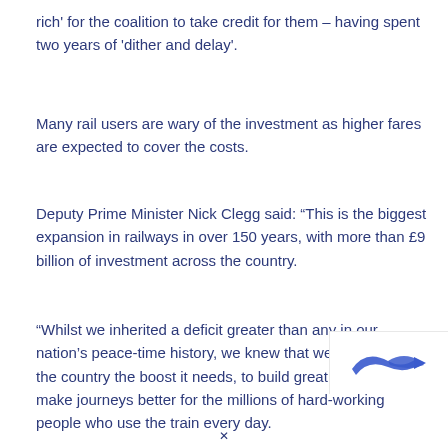rich' for the coalition to take credit for them – having spent two years of 'dither and delay'.
Many rail users are wary of the investment as higher fares are expected to cover the costs.
Deputy Prime Minister Nick Clegg said: “This is the biggest expansion in railways in over 150 years, with more than £9 billion of investment across the country.
“Whilst we inherited a deficit greater than any in our nation’s peace-time history, we knew that we had to give the country the boost it needs, to build great railways and make journeys better for the millions of hard-working people who use the train every day.
[Figure (logo): Partial blue logo/icon visible at bottom right corner]